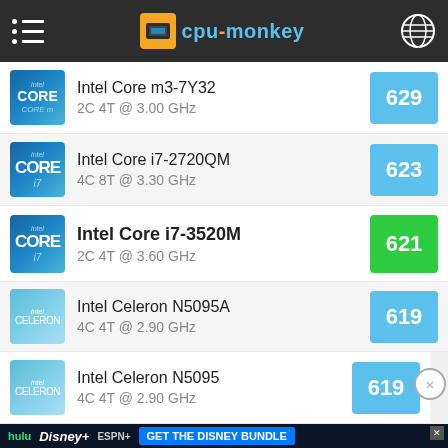cpu-monkey
Intel Core m3-7Y32 — 2C 4T @ 3.00 GHz — 629
Intel Core i7-2720QM — 4C 8T @ 3.30 GHz — 623
Intel Core i7-3520M — 2C 4T @ 3.60 GHz — 621
Intel Celeron N5095A — 4C 4T @ 2.90 GHz — 619
Intel Celeron N5095 — 4C 4T @ 2.90 GHz — 619
[Figure (screenshot): Disney Bundle advertisement banner with Hulu, Disney+, ESPN+ logos and 'GET THE DISNEY BUNDLE' CTA]